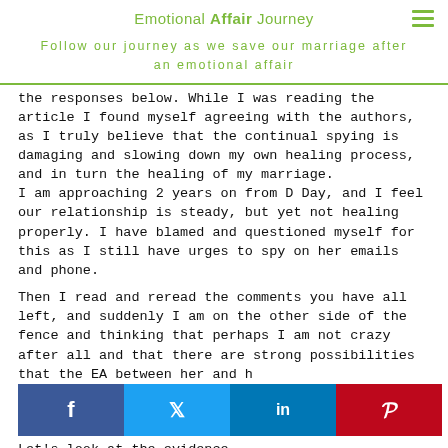Emotional Affair Journey
Follow our journey as we save our marriage after an emotional affair
the responses below. While I was reading the article I found myself agreeing with the authors, as I truly believe that the continual spying is damaging and slowing down my own healing process, and in turn the healing of my marriage.
I am approaching 2 years on from D Day, and I feel our relationship is steady, but yet not healing properly. I have blamed and questioned myself for this as I still have urges to spy on her emails and phone.

Then I read and reread the comments you have all left, and suddenly I am on the other side of the fence and thinking that perhaps I am not crazy after all and that there are strong possibilities that the EA between her and h
[Figure (other): Social sharing bar with Facebook, Twitter, LinkedIn, and Pinterest buttons]
Let's look at the evidence.
She has never given me ALL of her